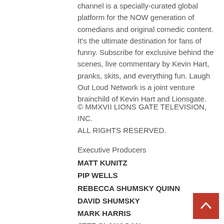channel is a specially-curated global platform for the NOW generation of comedians and original comedic content. It's the ultimate destination for fans of funny. Subscribe for exclusive behind the scenes, live commentary by Kevin Hart, pranks, skits, and everything fun. Laugh Out Loud Network is a joint venture brainchild of Kevin Hart and Lionsgate.
© MMXVII LIONS GATE TELEVISION, INC. ALL RIGHTS RESERVED.
Executive Producers
MATT KUNITZ
PIP WELLS
REBECCA SHUMSKY QUINN
DAVID SHUMSKY
MARK HARRIS
JEFF CLANAGAN
KEVIN HART